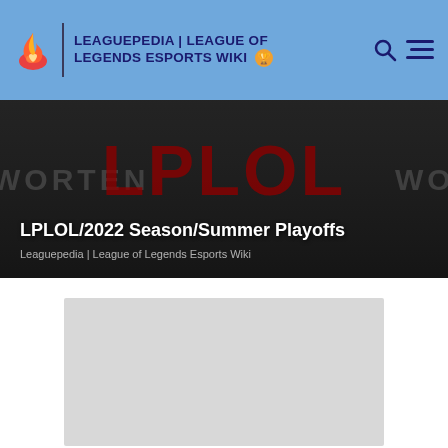LEAGUEPEDIA | LEAGUE OF LEGENDS ESPORTS WIKI
LPLOL/2022 Season/Summer Playoffs
Leaguepedia | League of Legends Esports Wiki
[Figure (other): Gray placeholder box representing a loading or unavailable image/content area on the wiki page]